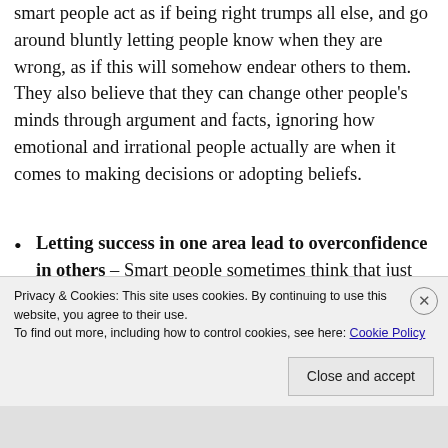smart people act as if being right trumps all else, and go around bluntly letting people know when they are wrong, as if this will somehow endear others to them.  They also believe that they can change other people's minds through argument and facts, ignoring how emotional and irrational people actually are when it comes to making decisions or adopting beliefs.
Letting success in one area lead to overconfidence in others – Smart people sometimes think that just because they are expert in their field, they are automatically qualified in
Privacy & Cookies: This site uses cookies. By continuing to use this website, you agree to their use.
To find out more, including how to control cookies, see here: Cookie Policy
Close and accept